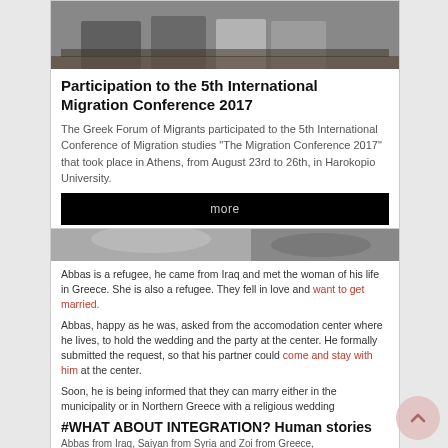[Figure (photo): Conference photo showing people seated at a panel table]
Participation to the 5th International Migration Conference 2017
The Greek Forum of Migrants participated to the 5th International Conference of Migration studies "The Migration Conference 2017" that took place in Athens, from August 23rd to 26th, in Harokopio University.
more
[Figure (photo): Close-up photo of hands, grayscale]
Abbas is a refugee, he came from Iraq and met the woman of his life in Greece. She is also a refugee. They fell in love and want to get married.
Abbas, happy as he was, asked from the accomodation center where he lives, to hold the wedding and the party at the center. He formally submitted the request, so that his partner could come and stay with him at the center.
Soon, he is being informed that they can marry either in the municipality or in Northern Greece with a religious wedding
#WHAT ABOUT INTEGRATION? Human stories
Abbas from Iraq, Saiyan from Syria and Zoi from Greece,